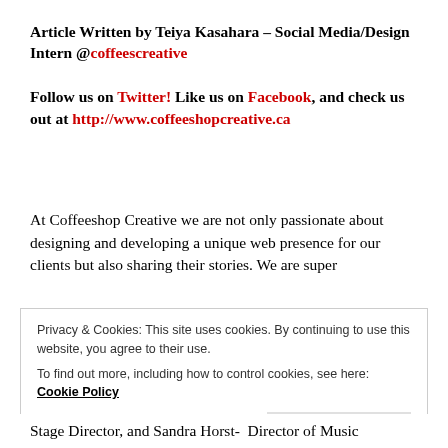Article Written by Teiya Kasahara – Social Media/Design Intern @coffeescreative
Follow us on Twitter! Like us on Facebook, and check us out at http://www.coffeeshopcreative.ca
At Coffeeshop Creative we are not only passionate about designing and developing a unique web presence for our clients but also sharing their stories. We are super
Privacy & Cookies: This site uses cookies. By continuing to use this website, you agree to their use.
To find out more, including how to control cookies, see here: Cookie Policy
Stage Director, and Sandra Horst-  Director of Music